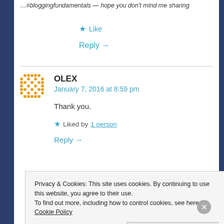…#bloggingfundamentals — hope you don't mind me sharing
Like
Reply →
OLEX
January 7, 2016 at 8:59 pm
Thank you.
Liked by 1 person
Reply →
Privacy & Cookies: This site uses cookies. By continuing to use this website, you agree to their use. To find out more, including how to control cookies, see here: Cookie Policy
Close and accept